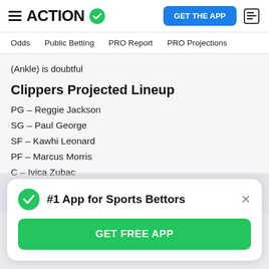ACTION (logo with checkmark) | GET THE APP
Odds | Public Betting | PRO Report | PRO Projections
(Ankle) is doubtful
Clippers Projected Lineup
PG – Reggie Jackson
SG – Paul George
SF – Kawhi Leonard
PF – Marcus Morris
C – Ivica Zubac
Injury news: Yogi Ferrell (Quad) is questionable; Amir Coffey (COVID Protocols) is out
#1 App for Sports Bettors — GET FREE APP